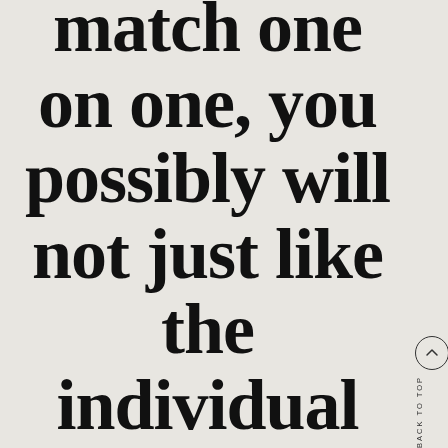match one on one, you possibly will not just like the individual immediately
[Figure (other): Back to top navigation element with circle arrow icon and vertical 'BACK TO TOP' text label on right sidebar]